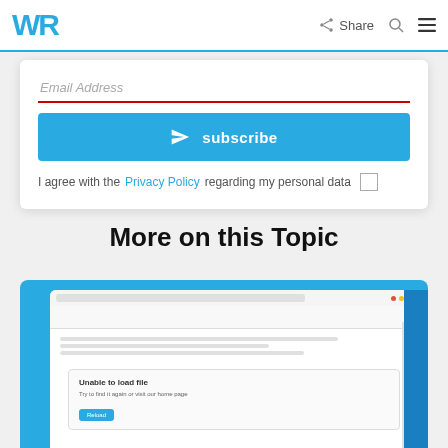WR  Share
Email Address
subscribe
I agree with the Privacy Policy regarding my personal data
More on this Topic
[Figure (screenshot): Screenshot of a Windows desktop showing a Google Docs browser window with an error dialog that reads 'Unable to load file. Try to find it again or visit our home page']